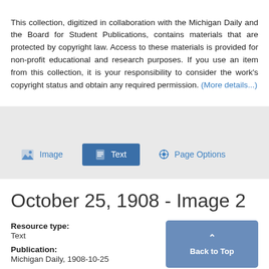This collection, digitized in collaboration with the Michigan Daily and the Board for Student Publications, contains materials that are protected by copyright law. Access to these materials is provided for non-profit educational and research purposes. If you use an item from this collection, it is your responsibility to consider the work's copyright status and obtain any required permission. (More details...)
[Figure (screenshot): Navigation tab bar with Image, Text (active/selected, dark blue), and Page Options buttons on a gray background]
October 25, 1908 - Image 2
Resource type:
Text

Publication:
Michigan Daily, 1908-10-25